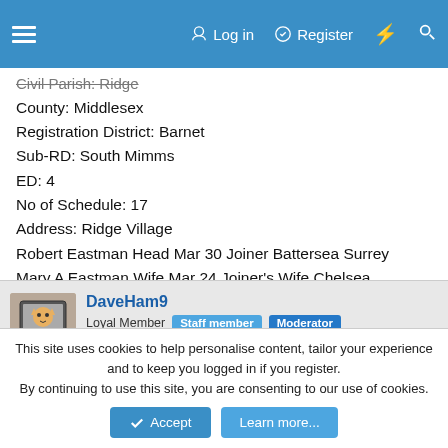☰  Log in  Register  ⚡  🔍
Civil Parish: Ridge
County: Middlesex
Registration District: Barnet
Sub-RD: South Mimms
ED: 4
No of Schedule: 17
Address: Ridge Village
Robert Eastman Head Mar 30 Joiner Battersea Surrey
Mary A Eastman Wife Mar 24 Joiner's Wife Chelsea Middlesex
Robert Eastman Son 2 Pentonville Middlesex
Henry Eastman Son 1 Pentonville Middlesex
John Young Visitor Unm 19 Carpenter Battersea Surrey
DaveHam9
Loyal Member  Staff member  Moderator
This site uses cookies to help personalise content, tailor your experience and to keep you logged in if you register.
By continuing to use this site, you are consenting to our use of cookies.
Accept  Learn more...